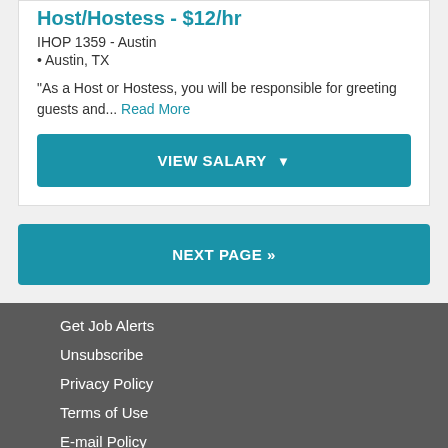Host/Hostess - $12/hr
IHOP 1359 - Austin
• Austin, TX
"As a Host or Hostess, you will be responsible for greeting guests and... Read More
VIEW SALARY ▼
NEXT PAGE »
Get Job Alerts
Unsubscribe
Privacy Policy
Terms of Use
E-mail Policy
Bravery Careers